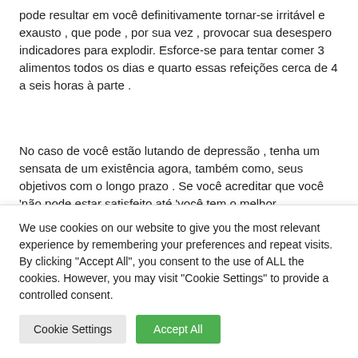pode resultar em você definitivamente tornar-se irritável e exausto , que pode , por sua vez , provocar sua desespero indicadores para explodir. Esforce-se para tentar comer 3 alimentos todos os dias e quarto essas refeições cerca de 4 a seis horas à parte .
No caso de você estão lutando de depressão , tenha um sensata de um existência agora, também como, seus objetivos com o longo prazo . Se você acreditar que você 'não pode estar satisfeito até 'você tem o melhor relacionamento romântico , ou maior receita , ou talvez o
We use cookies on our website to give you the most relevant experience by remembering your preferences and repeat visits. By clicking "Accept All", you consent to the use of ALL the cookies. However, you may visit "Cookie Settings" to provide a controlled consent.